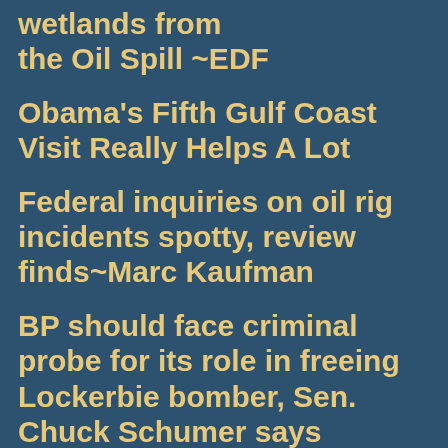wetlands from the Oil Spill ~EDF
Obama's Fifth Gulf Coast Visit Really Helps A Lot
Federal inquiries on oil rig incidents spotty, review finds~Marc Kaufman
BP should face criminal probe for its role in freeing Lockerbie bomber, Sen. Chuck Schumer says